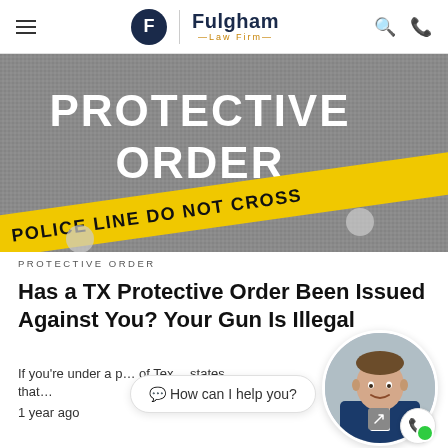Fulgham Law Firm
[Figure (photo): Gray concrete surface with white text reading PROTECTIVE ORDER and yellow police tape reading POLICE LINE DO NOT CROSS]
PROTECTIVE ORDER
Has a TX Protective Order Been Issued Against You? Your Gun Is Illegal
If you're under a p... of Tex... states that...
1 year ago